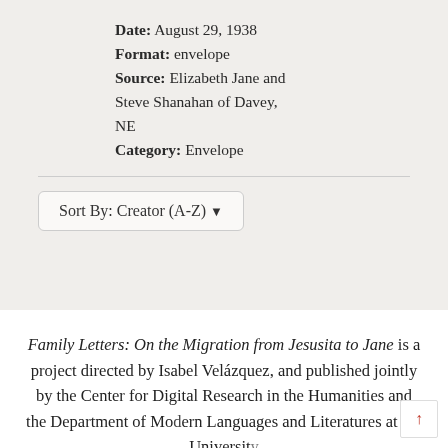Date: August 29, 1938
Format: envelope
Source: Elizabeth Jane and Steve Shanahan of Davey, NE
Category: Envelope
Sort By: Creator (A-Z)
Family Letters: On the Migration from Jesusita to Jane is a project directed by Isabel Velázquez, and published jointly by the Center for Digital Research in the Humanities and the Department of Modern Languages and Literatures at the University